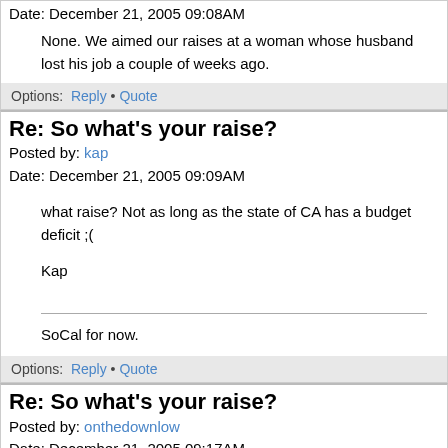Posted by: Gutenberg
Date: December 21, 2005 09:08AM
None. We aimed our raises at a woman whose husband lost his job a couple of weeks ago.
Options: Reply • Quote
Re: So what's your raise?
Posted by: kap
Date: December 21, 2005 09:09AM
what raise? Not as long as the state of CA has a budget deficit ;(

Kap

SoCal for now.
Options: Reply • Quote
Re: So what's your raise?
Posted by: onthedownlow
Date: December 21, 2005 09:17AM
Pre-9/11...it was anywhere from 4%-10%...and possibly more based on "merit".